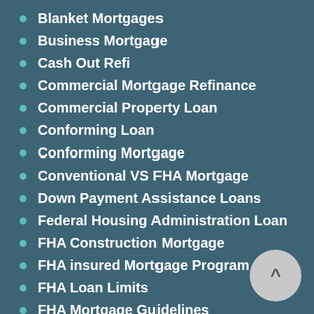Blanket Mortgages
Business Mortgage
Cash Out Refi
Commercial Mortgage Refinance
Commercial Property Loan
Conforming Loan
Conforming Mortgage
Conventional VS FHA Mortgage
Down Payment Assistance Loans
Federal Housing Administration Loan
FHA Construction Mortgage
FHA insured Mortgage Program
FHA Loan Limits
FHA Mortgage Guidelines
First Time Home Buyers Program
Fixed Mortgage Rates
Hard Money Mortgage